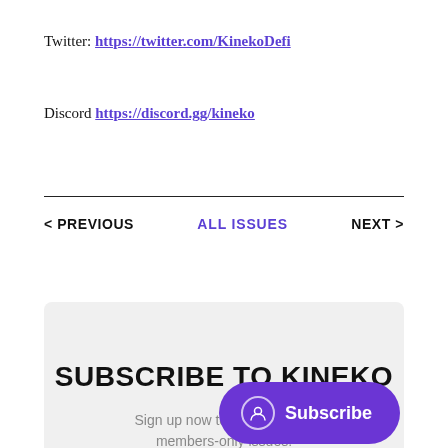Twitter: https://twitter.com/KinekoDefi
Discord https://discord.gg/kineko
< PREVIOUS   ALL ISSUES   NEXT >
SUBSCRIBE TO KINEKO
Sign up now to get access to members-only issues.
Subscribe